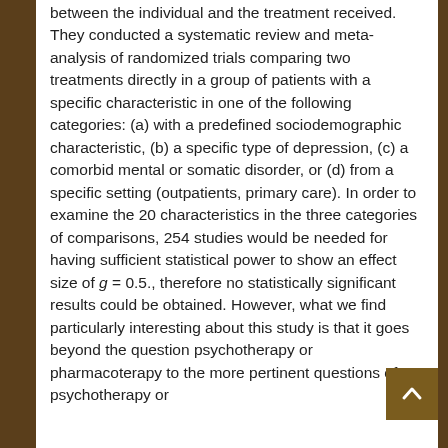between the individual and the treatment received. They conducted a systematic review and meta-analysis of randomized trials comparing two treatments directly in a group of patients with a specific characteristic in one of the following categories: (a) with a predefined sociodemographic characteristic, (b) a specific type of depression, (c) a comorbid mental or somatic disorder, or (d) from a specific setting (outpatients, primary care). In order to examine the 20 characteristics in the three categories of comparisons, 254 studies would be needed for having sufficient statistical power to show an effect size of g = 0.5., therefore no statistically significant results could be obtained. However, what we find particularly interesting about this study is that it goes beyond the question psychotherapy or pharmacoterapy to the more pertinent questions of psychotherapy or pharmacotherapy for which patient? For the